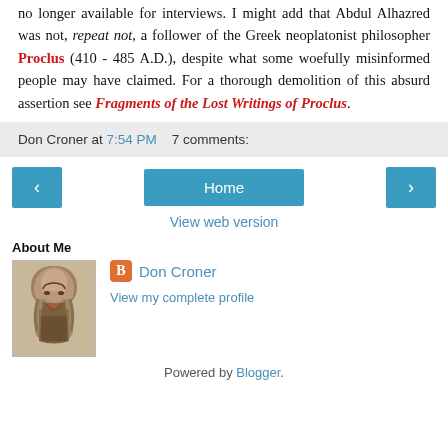no longer available for interviews. I might add that Abdul Alhazred was not, repeat not, a follower of the Greek neoplatonist philosopher Proclus (410 - 485 A.D.), despite what some woefully misinformed people may have claimed. For a thorough demolition of this absurd assertion see Fragments of the Lost Writings of Proclus.
Don Croner at 7:54 PM   7 comments:
[Figure (screenshot): Navigation bar with left arrow button, Home button, and right arrow button, followed by View web version link]
About Me
[Figure (photo): Sepia-toned portrait photo of a bearded man in historical Middle Eastern attire]
Don Croner
View my complete profile
Powered by Blogger.